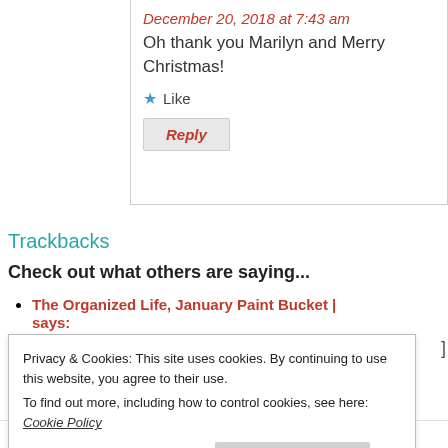December 20, 2018 at 7:43 am
Oh thank you Marilyn and Merry Christmas!
Like
Reply
Trackbacks
Check out what others are saying...
The Organized Life, January Paint Bucket | says: December 30, 2018 at 5:02 am
Privacy & Cookies: This site uses cookies. By continuing to use this website, you agree to their use. To find out more, including how to control cookies, see here: Cookie Policy
Close and accept
[ …] I will probably make Rosemary Parmesan